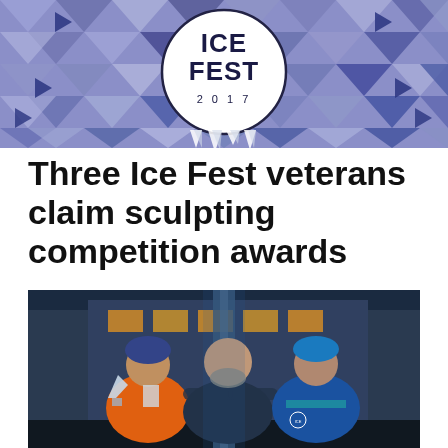[Figure (illustration): Ice Fest 2017 banner with geometric triangle pattern in purple and blue tones, with a circular logo in the center reading ICE FEST 2017, and icicle graphics below the logo]
Three Ice Fest veterans claim sculpting competition awards
[Figure (photo): Three men posing together outdoors at night, one wearing an orange hoodie and blue beanie holding a trophy, one in the center with a beard wearing a dark jacket, and one on the right in a blue jacket and blue hat. They are smiling and have their arms around each other.]